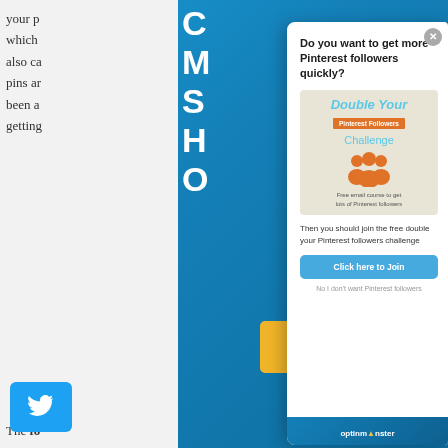your p
which
also ca
pins ar
been a
getting
[Figure (screenshot): Blue website background with partial white/blue heading text]
[Figure (infographic): Modal popup: Do you want to get more Pinterest followers quickly? with Double Your Pinterest Followers Challenge image, join button, and OptinMonster branding]
Do you want to get more Pinterest followers quickly?
[Figure (illustration): Double Your Pinterest Followers Challenge - Free email course to get lots of Pinterest followers]
Then you should join the free double your Pinterest followers challenge
Click here to Join
No I don't want Pinterest followers
optinmonster